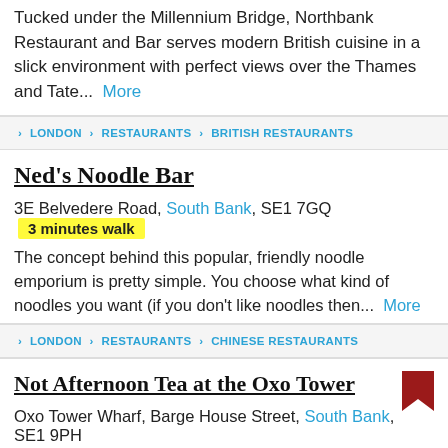Tucked under the Millennium Bridge, Northbank Restaurant and Bar serves modern British cuisine in a slick environment with perfect views over the Thames and Tate... More
LONDON > RESTAURANTS > BRITISH RESTAURANTS
Ned's Noodle Bar
3E Belvedere Road, South Bank, SE1 7GQ  3 minutes walk
The concept behind this popular, friendly noodle emporium is pretty simple. You choose what kind of noodles you want (if you don't like noodles then... More
LONDON > RESTAURANTS > CHINESE RESTAURANTS
Not Afternoon Tea at the Oxo Tower
Oxo Tower Wharf, Barge House Street, South Bank, SE1 9PH
12 minutes walk
Forget finger sandwiches and scones - when you have Not Afternoon Tea at the Oxo Tower, you get a tasting plate of four indulgent desserts... More